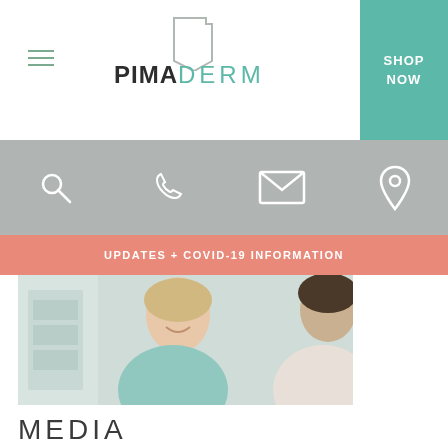PIMADERM — SHOP NOW
[Figure (screenshot): Navigation bar with search, phone, email, and location icons on gray background]
UPDATES + COVID-19 INFORMATION
[Figure (photo): Smiling woman in light blue top talking with a healthcare professional]
MEDIA
View Pima in the Media
[Figure (photo): Green tropical leaves arrangement on white background]